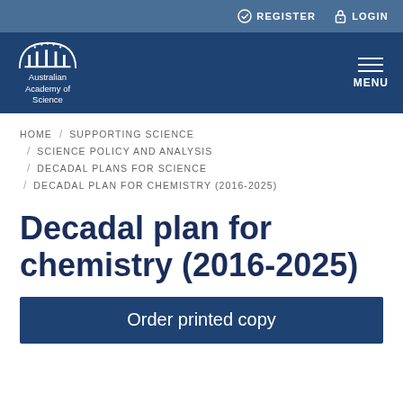REGISTER  LOGIN
[Figure (logo): Australian Academy of Science logo with dome/arch graphic and text, on dark blue navigation bar with hamburger MENU icon]
HOME / SUPPORTING SCIENCE / SCIENCE POLICY AND ANALYSIS / DECADAL PLANS FOR SCIENCE / DECADAL PLAN FOR CHEMISTRY (2016-2025)
Decadal plan for chemistry (2016-2025)
Order printed copy